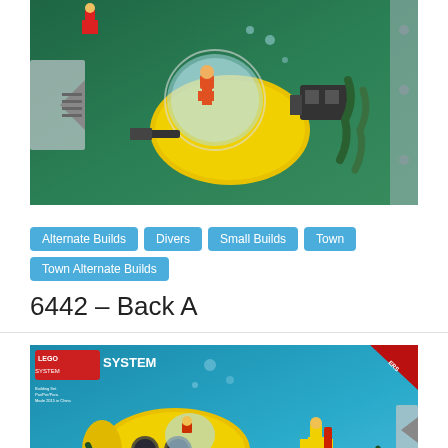[Figure (photo): LEGO Divers set showing a yellow underwater vehicle with dome cockpit, minifigures in diving gear, on a green/teal underwater background with arrow navigation element on left side]
Alternate Builds
Divers
Small Builds
Town
Town Alternate Builds
6442 – Back A
[Figure (photo): LEGO System box art showing LEGO Divers set 442 with yellow submarine with porthole windows, minifigure diver, on teal underwater background with LEGO System logo top left]